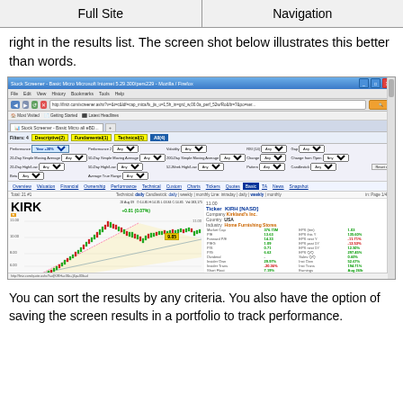Full Site | Navigation
right in the results list. The screen shot below illustrates this better than words.
[Figure (screenshot): Screenshot of a stock screener results page (finiz.com) showing a browser window with a stock screener filtered by Performance Year +30%, displaying stock chart for KIRK (Kirkland's Inc.) with candlestick chart, financial data including Market Cap 376.73M, P/E 13.63, Forward P/E 14.33, P/G 1.09, P/S 0.71, P/G 6.62, and a second stock row starting for ATSG.]
You can sort the results by any criteria. You also have the option of saving the screen results in a portfolio to track performance.